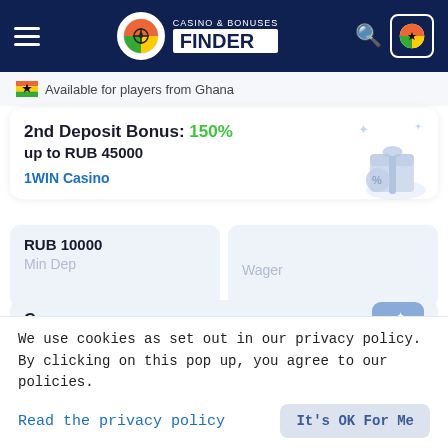[Figure (screenshot): Casino & Bonuses Finder website header with dark navy background, hamburger menu, logo, search icon, and Ghana flag button]
🇬🇭 Available for players from Ghana
2nd Deposit Bonus: 150% up to RUB 45000
1WIN Casino
| RUB 10000 |  |
| Min Dep | Wager |
| Curacao |  |
| License |  |
We use cookies as set out in our privacy policy. By clicking on this pop up, you agree to our policies.
Read the privacy policy
It's OK For Me